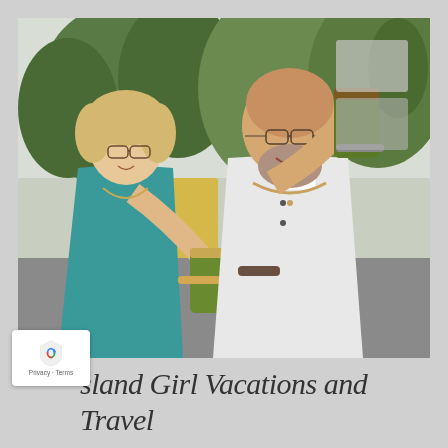[Figure (photo): Two people smiling and holding green bamboo cups/drinks, standing outdoors. A woman in a teal/turquoise dress on the left with blonde hair and glasses, a bald man in a white linen shirt on the right with glasses. Trees and a yellow wall visible in background. Appears to be a tropical vacation setting.]
Island Girl Vacations and Travel